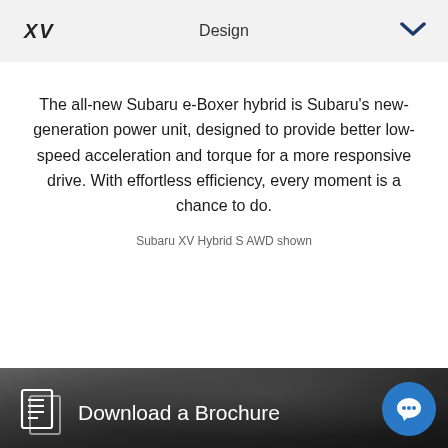XV  Design
The all-new Subaru e-Boxer hybrid is Subaru's new-generation power unit, designed to provide better low-speed acceleration and torque for a more responsive drive. With effortless efficiency, every moment is a chance to do.
Subaru XV Hybrid S AWD shown
[Figure (photo): Dark background photo of a Subaru XV car boot/rear area with people, partially visible]
Want to know more?
Download a Brochure